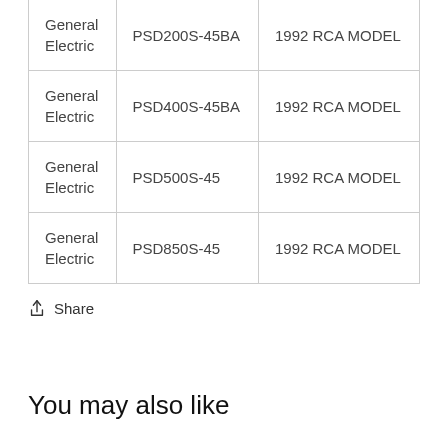| General Electric | PSD200S-45BA | 1992 RCA MODEL |
| General Electric | PSD400S-45BA | 1992 RCA MODEL |
| General Electric | PSD500S-45 | 1992 RCA MODEL |
| General Electric | PSD850S-45 | 1992 RCA MODEL |
Share
You may also like